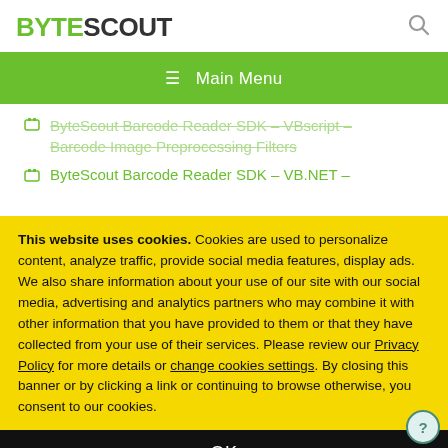BYTESCOUT
≡ Main Menu
ByteScout Barcode Reader SDK – VBscript – Barcode Image Preprocessing Filters
ByteScout Barcode Reader SDK – VB.NET –
This website uses cookies. Cookies are used to personalize content, analyze traffic, provide social media features, display ads. We also share information about your use of our site with our social media, advertising and analytics partners who may combine it with other information that you have provided to them or that they have collected from your use of their services. Please review our Privacy Policy for more details or change cookies settings. By closing this banner or by clicking a link or continuing to browse otherwise, you consent to our cookies.
OK